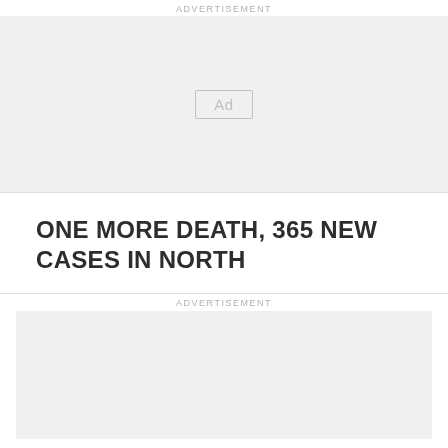ADVERTISEMENT
[Figure (other): Advertisement placeholder box with 'Ad' button label in center]
ONE MORE DEATH, 365 NEW CASES IN NORTH
ADVERTISEMENT
[Figure (other): Advertisement placeholder box at bottom of page]